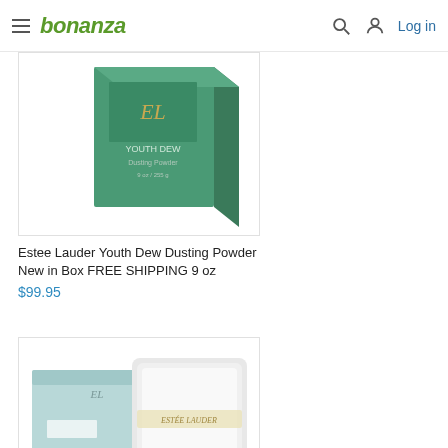bonanza | Log in
[Figure (photo): Estee Lauder Youth Dew Dusting Powder green box product photo]
Estee Lauder Youth Dew Dusting Powder New in Box FREE SHIPPING 9 oz
$99.95
[Figure (photo): Estee Lauder product shown with light blue box and powder puff on white background]